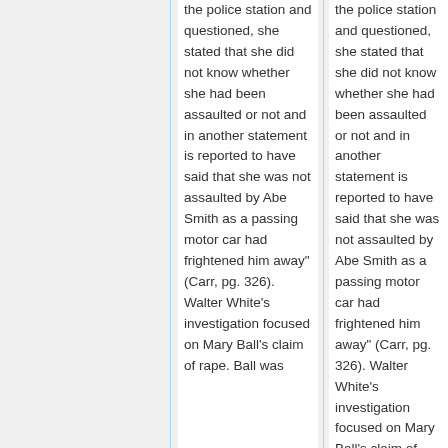the police station and questioned, she stated that she did not know whether she had been assaulted or not and in another statement is reported to have said that she was not assaulted by Abe Smith as a passing motor car had frightened him away" (Carr, pg. 326).  Walter White's investigation focused on Mary Ball's claim of rape.  Ball was
the police station and questioned, she stated that she did not know whether she had been assaulted or not and in another statement is reported to have said that she was not assaulted by Abe Smith as a passing motor car had frightened him away" (Carr, pg. 326).  Walter White's investigation focused on Mary Ball's claim of rape.  Ball was